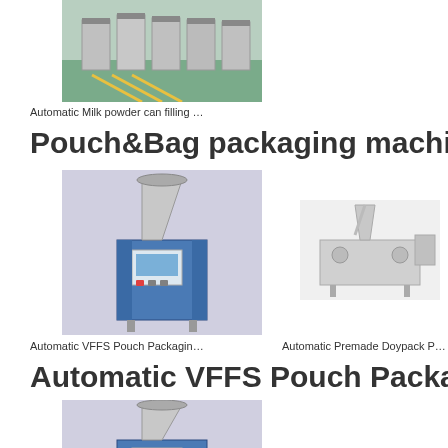[Figure (photo): Industrial milk powder can filling machines lined up in a factory setting with green floor]
Automatic Milk powder can filling …
Pouch&Bag packaging machine
[Figure (photo): Automatic VFFS pouch packaging machine with funnel hopper on top and blue body panel]
[Figure (photo): Automatic Premade Doypack packaging machine, silver industrial equipment]
Automatic VFFS Pouch Packagin…
Automatic Premade Doypack P…
Automatic VFFS Pouch Packaging Mac…
[Figure (photo): Automatic VFFS pouch packaging machine with funnel hopper on top, same model as above]